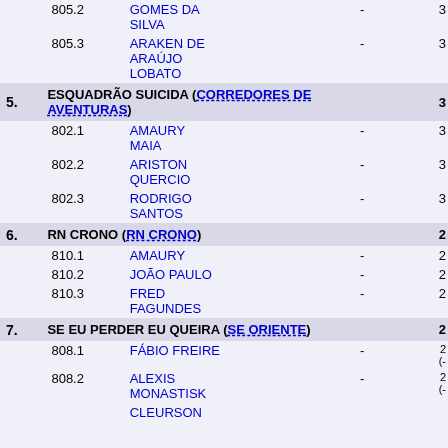| # | Num | Name | Dash | Score |
| --- | --- | --- | --- | --- |
|  | 805.2 | GOMES DA SILVA | - | 3… |
|  | 805.3 | ARAKEN DE ARAÚJO LOBATO | - | 3… |
| 5. |  | ESQUADRÃO SUICIDA (CORREDORES DE AVENTURAS) |  | 3… |
|  | 802.1 | AMAURY MAIA | - | 3… |
|  | 802.2 | ARISTON QUERCIO | - | 3… |
|  | 802.3 | RODRIGO SANTOS | - | 3… |
| 6. |  | RN CRONO (RN CRONO) |  | 2… |
|  | 810.1 | AMAURY | - | 2… |
|  | 810.2 | JOÃO PAULO | - | 2… |
|  | 810.3 | FRED FAGUNDES | - | 2… |
| 7. |  | SE EU PERDER EU QUEIRA (SE ORIENTE) |  | 2… |
|  | 808.1 | FÁBIO FREIRE | - | 2… (-… |
|  | 808.2 | ALEXIS MONASTISK | - | 2… (-… |